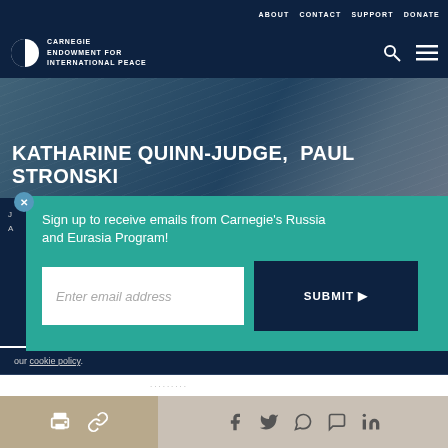ABOUT   CONTACT   SUPPORT   DONATE
[Figure (logo): Carnegie Endowment for International Peace logo — white half-circle icon with CARNEGIE ENDOWMENT FOR INTERNATIONAL PEACE text]
KATHARINE QUINN-JUDGE, PAUL STRONSKI
Sign up to receive emails from Carnegie's Russia and Eurasia Program!
Enter email address
SUBMIT ▶
our cookie policy.
Share icons: print, link, Facebook, Twitter, WhatsApp, Messenger, LinkedIn